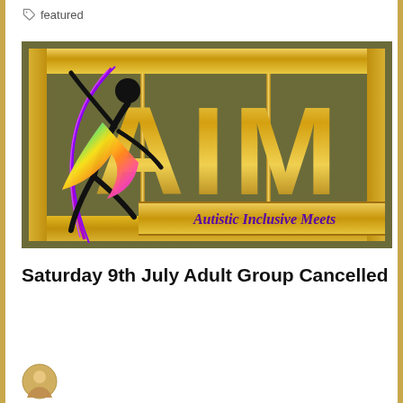featured
[Figure (logo): AIM – Autistic Inclusive Meets logo. Olive/khaki green background with gold metallic letter 'AIM' in large block text inside a gold framed box. A rainbow-colored stick figure dancer is on the left side with a purple curved arc around it. Text below reads 'Autistic Inclusive Meets' in purple italic font on a gold banner.]
Saturday 9th July Adult Group Cancelled